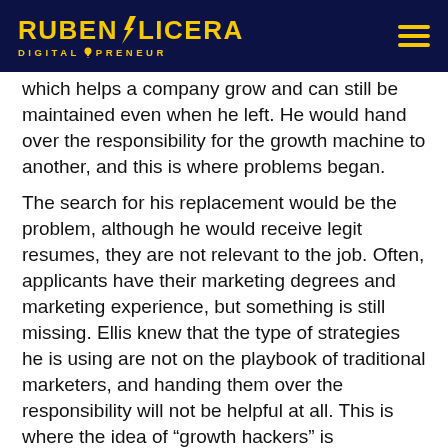RUBEN OLICERA DIGITALPRENEUR
which helps a company grow and can still be maintained even when he left. He would hand over the responsibility for the growth machine to another, and this is where problems began.

The search for his replacement would be the problem, although he would receive legit resumes, they are not relevant to the job. Often, applicants have their marketing degrees and marketing experience, but something is still missing. Ellis knew that the type of strategies he is using are not on the playbook of traditional marketers, and handing them over the responsibility will not be helpful at all. This is where the idea of “growth hackers” is